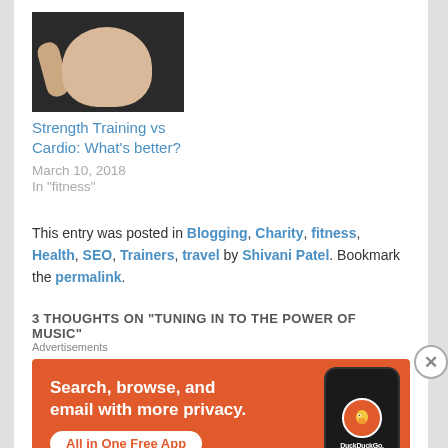[Figure (photo): A person in a crop top flexing, dark background — fitness/workout photo]
Strength Training vs Cardio: What's better?
March 10, 2018
In "fitness"
This entry was posted in Blogging, Charity, fitness, Health, SEO, Trainers, travel by Shivani Patel. Bookmark the permalink.
3 THOUGHTS ON "TUNING IN TO THE POWER OF MUSIC"
Advertisements
[Figure (infographic): DuckDuckGo advertisement on orange background: 'Search, browse, and email with more privacy. All in One Free App' with phone mockup showing DuckDuckGo logo]